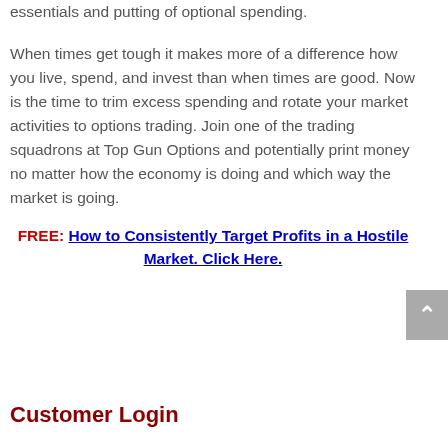essentials and putting of optional spending.
When times get tough it makes more of a difference how you live, spend, and invest than when times are good. Now is the time to trim excess spending and rotate your market activities to options trading. Join one of the trading squadrons at Top Gun Options and potentially print money no matter how the economy is doing and which way the market is going.
FREE: How to Consistently Target Profits in a Hostile Market. Click Here.
Customer Login